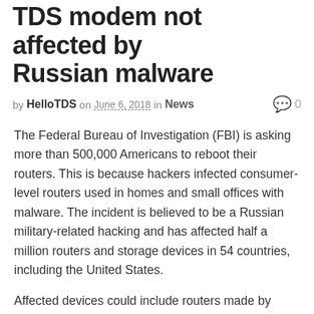TDS modem not affected by Russian malware
by HelloTDS on June 6, 2018 in News  0
The Federal Bureau of Investigation (FBI) is asking more than 500,000 Americans to reboot their routers. This is because hackers infected consumer-level routers used in homes and small offices with malware. The incident is believed to be a Russian military-related hacking and has affected half a million routers and storage devices in 54 countries, including the United States.
Affected devices could include routers made by Linksys, MikroTik, Netgear, TP-Link, and one network-attached storage device from QNAP. The good news is that TDS’ Wireline Actiontec modems are not affected by this malware. However, if a customer has a third-party router